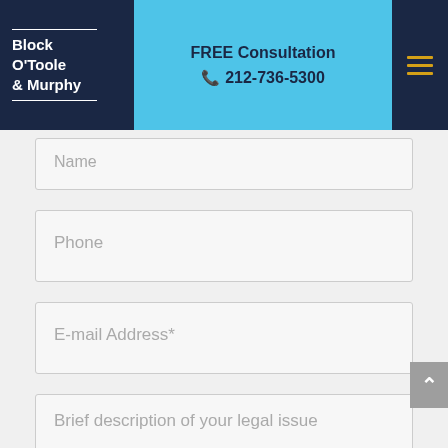Block O'Toole & Murphy — FREE Consultation 212-736-5300
Name
Phone
E-mail Address*
Brief description of your legal issue